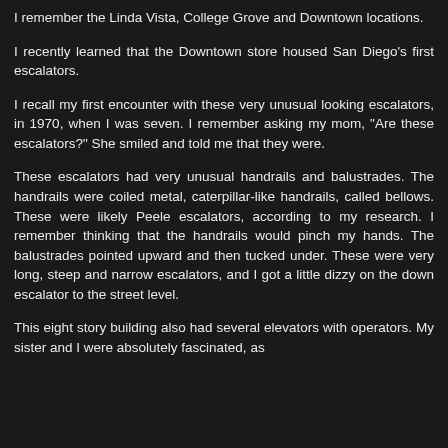I remember the Linda Vista, College Grove and Downtown locations.
I recently learned that the Downtown store housed San Diego's first escalators.
I recall my first encounter with these very unusual looking escalators, in 1970, when I was seven. I remember asking my mom, "Are these escalators?" She smiled and told me that they were.
These escalators had very unusual handrails and balustrades. The handrails were coiled metal, caterpillar-like handrails, called bellows. These were likely Peele escalators, according to my research. I remember thinking that the handrails would pinch my hands. The balustrades pointed upward and then tucked under. These were very long, steep and narrow escalators, and I got a little dizzy on the down escalator to the street level.
This eight story building also had several elevators with operators. My sister and I were absolutely fascinated, as